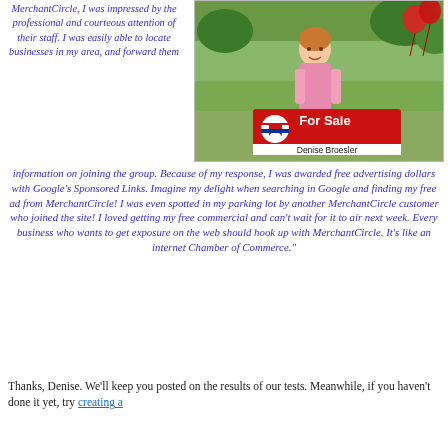MerchantCircle, I was impressed by the professional and courteous attention of their staff. I was easily able to locate businesses in my area, and forward them information on joining the group. Because of my response, I was awarded free advertising dollars with Google's Sponsored Links. Imagine my delight when searching in Google and finding my free ad from MerchantCircle! I was even spotted in my parking lot by another MerchantCircle customer who joined the site! I loved getting my free commercial and can't wait for it to air next week. Every business who wants to get exposure on the web should hook up with MerchantCircle. It's like an internet Chamber of Commerce."
[Figure (photo): Photo of Denise Broesler, a woman in a pink shirt holding a RE/MAX For Sale sign outdoors with red balloons and trees in the background.]
Thanks, Denise. We'll keep you posted on the results of our tests. Meanwhile, if you haven't done it yet, try creating a